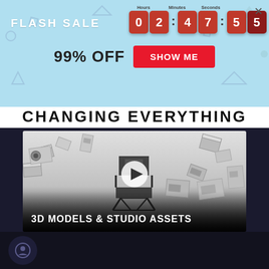[Figure (screenshot): Flash sale banner with countdown timer showing 02:47:55, 99% OFF text, SHOW ME button, and close X button on light blue background with decorative geometric shapes]
CHANGING EVERYTHING
[Figure (screenshot): Video thumbnail showing 3D models and studio assets scattered in a white room with a director's chair in center, play button overlay, and text '3D MODELS & STUDIO ASSETS' at bottom]
[Figure (other): Dark bottom bar with circular chat bubble icon]